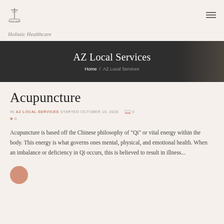[Figure (logo): Small logo with T-shaped icon and text below it]
Holistic Healthcare
AZ Local Services
Home / AZ Local Services
Acupuncture
IN AZ LOCAL SERVICES STARTED OCTOBER 16, 2020  0  0
Acupuncture is based off the Chinese philosophy of "Qi" or vital energy within the body. This energy is what governs ones mental, physical, and emotional health. When an imbalance or deficiency in Qi occurs, this is believed to result in illness...